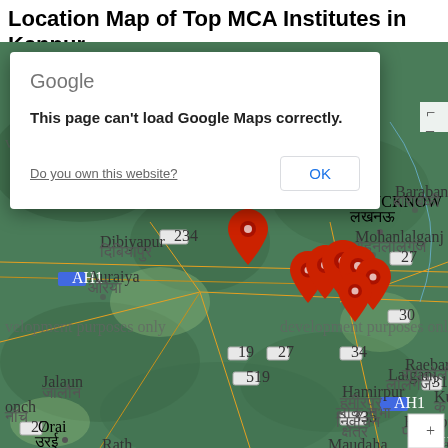Location Map of Top MCA Institutes in Kanpur
[Figure (map): Google Maps screenshot showing location of top MCA institutes in Kanpur, India. Multiple red map pins are clustered around the Kanpur area. A Google Maps error dialog is overlaid stating 'This page can't load Google Maps correctly.' with a 'Do you own this website?' link and an OK button. The map shows surrounding cities including Lucknow, Barabanki, Mohanlalganj, Dibiyapur, Auraiya, Jalaun, Orai, Hamirpur, Lalganj, Raebareli, Fatehpur, Khaga, Maudaha, and Rath. Watermark text reads 'For development purposes only'.]